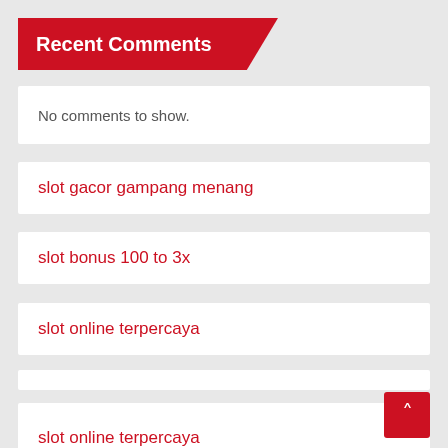Recent Comments
No comments to show.
slot gacor gampang menang
slot bonus 100 to 3x
slot online terpercaya
Situs Judi Slot Online
slot online terpercaya